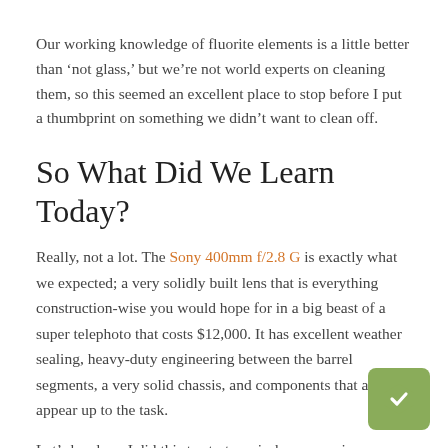Our working knowledge of fluorite elements is a little better than ‘not glass,’ but we’re not world experts on cleaning them, so this seemed an excellent place to stop before I put a thumbprint on something we didn’t want to clean off.
So What Did We Learn Today?
Really, not a lot. The Sony 400mm f/2.8 G is exactly what we expected; a very solidly built lens that is everything construction-wise you would hope for in a big beast of a super telephoto that costs $12,000. It has excellent weather sealing, heavy-duty engineering between the barrel segments, a very solid chassis, and components that all appear up to the task.
Let’s be clear; I did this to start our in-house repair